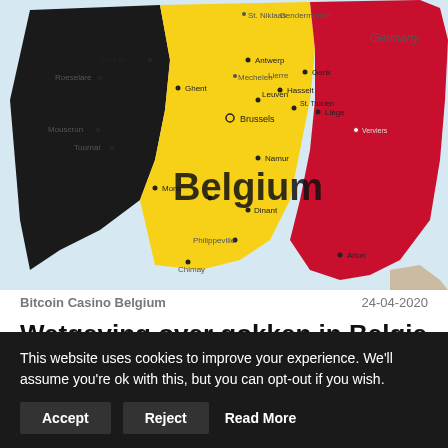[Figure (map): Map of Belgium showing the Belgian flag colors (black, yellow, red) overlaid on the country regions, with city labels including Brussels, Ghent, Antwerp, Liege, Namur, Mons, Charleroi, and neighboring country Germany visible.]
Bitcoin Casino Belgium    24-04-2020
Wetgeving over gokken in Belgie
De Belgische wet bepaalt de soorten toegelaten kansspelinrichtingen en kansspelen, de vergunningen
This website uses cookies to improve your experience. We'll assume you're ok with this, but you can opt-out if you wish.